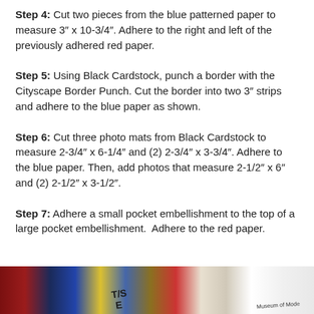Step 4: Cut two pieces from the blue patterned paper to measure 3" x 10-3/4". Adhere to the right and left of the previously adhered red paper.
Step 5: Using Black Cardstock, punch a border with the Cityscape Border Punch. Cut the border into two 3" strips and adhere to the blue paper as shown.
Step 6: Cut three photo mats from Black Cardstock to measure 2-3/4" x 6-1/4" and (2) 2-3/4" x 3-3/4". Adhere to the blue paper. Then, add photos that measure 2-1/2" x 6" and (2) 2-1/2" x 3-1/2".
Step 7: Adhere a small pocket embellishment to the top of a large pocket embellishment. Adhere to the red paper.
[Figure (photo): Photo strip showing craft materials including colorful papers, red/blue cardstock, and yellow/white elements scattered on a surface.]